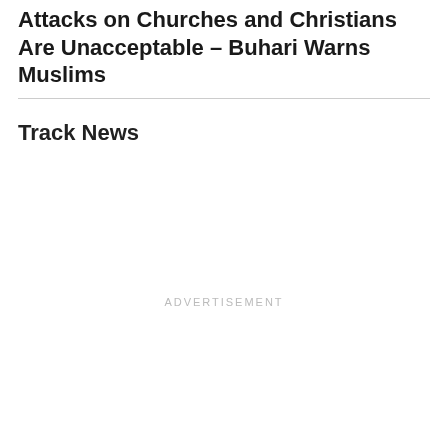Attacks on Churches and Christians Are Unacceptable – Buhari Warns Muslims
Track News
ADVERTISEMENT